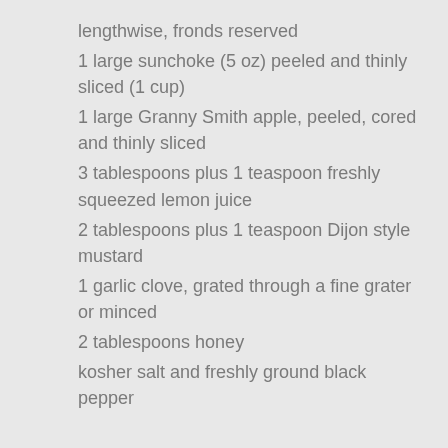lengthwise, fronds reserved
1 large sunchoke (5 oz) peeled and thinly sliced (1 cup)
1 large Granny Smith apple, peeled, cored and thinly sliced
3 tablespoons plus 1 teaspoon freshly squeezed lemon juice
2 tablespoons plus 1 teaspoon Dijon style mustard
1 garlic clove, grated through a fine grater or minced
2 tablespoons honey
kosher salt and freshly ground black pepper